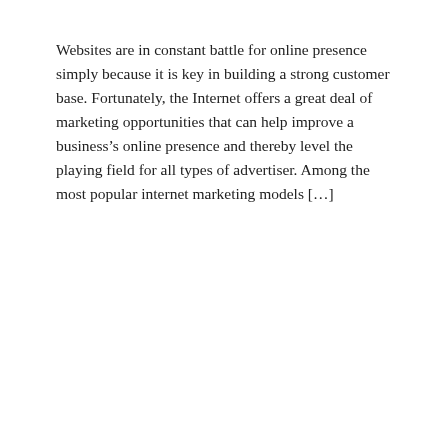Websites are in constant battle for online presence simply because it is key in building a strong customer base. Fortunately, the Internet offers a great deal of marketing opportunities that can help improve a business's online presence and thereby level the playing field for all types of advertiser. Among the most popular internet marketing models […]